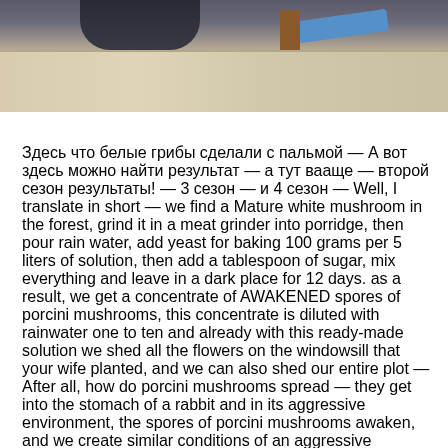[Figure (photo): Photo of a kitchen counter area with wooden cabinets, brown bottles, and a blue cloth. A person's dark-clothed arm is visible at the top.]
Здесь что белые грибы сделали с пальмой — А вот здесь можно найти результат — а тут вааще — второй сезон результаты! — 3 сезон — и 4 сезон — Well, I translate in short — we find a Mature white mushroom in the forest, grind it in a meat grinder into porridge, then pour rain water, add yeast for baking 100 grams per 5 liters of solution, then add a tablespoon of sugar, mix everything and leave in a dark place for 12 days. as a result, we get a concentrate of AWAKENED spores of porcini mushrooms, this concentrate is diluted with rainwater one to ten and already with this ready-made solution we shed all the flowers on the windowsill that your wife planted, and we can also shed our entire plot — After all, how do porcini mushrooms spread — they get into the stomach of a rabbit and in its aggressive environment, the spores of porcini mushrooms awaken, and we create similar conditions of an aggressive environment for spores and awaken them in an artificial